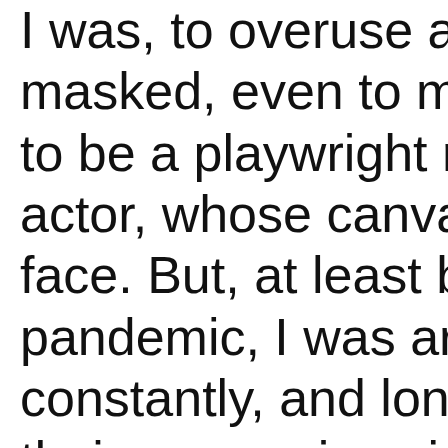I was, to overuse a [word], masked, even to my [self], to be a playwright ra[ther than an] actor, whose canvas [is their own] face. But, at least be[fore the] pandemic, I was aro[und actors] constantly, and long[ed to read] their expressions in [a crowded] room. I didn't want t[o miss]